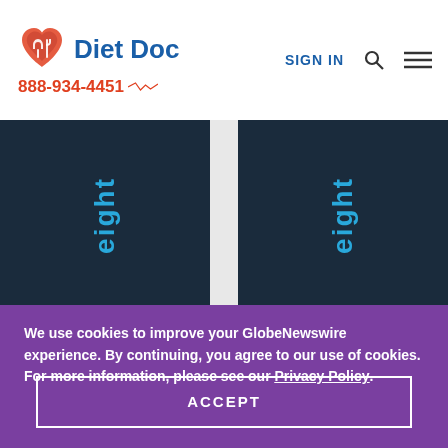Diet Doc — 888-934-4451 — SIGN IN
[Figure (screenshot): Two dark navy blue card panels showing the word 'eight' written vertically in blue text, separated by a light gray gap, on a light gray background.]
We use cookies to improve your GlobeNewswire experience. By continuing, you agree to our use of cookies. For more information, please see our Privacy Policy.
ACCEPT